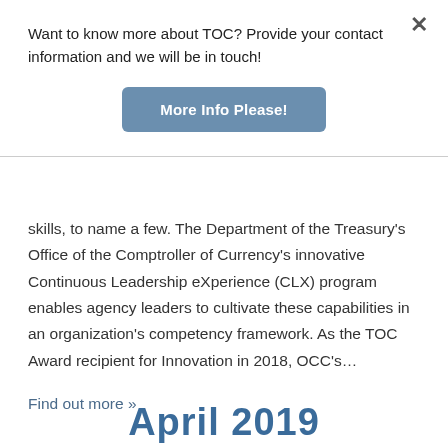Want to know more about TOC? Provide your contact information and we will be in touch!
More Info Please!
skills, to name a few. The Department of the Treasury's Office of the Comptroller of Currency's innovative Continuous Leadership eXperience (CLX) program enables agency leaders to cultivate these capabilities in an organization's competency framework. As the TOC Award recipient for Innovation in 2018, OCC's…
Find out more »
April 2019